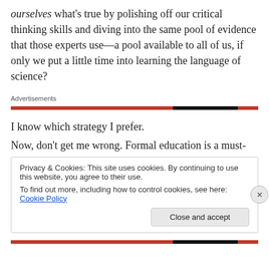ourselves what's true by polishing off our critical thinking skills and diving into the same pool of evidence that those experts use—a pool available to all of us, if only we put a little time into learning the language of science?
Advertisements
I know which strategy I prefer.
Now, don't get me wrong. Formal education is a must-
Privacy & Cookies: This site uses cookies. By continuing to use this website, you agree to their use.
To find out more, including how to control cookies, see here: Cookie Policy